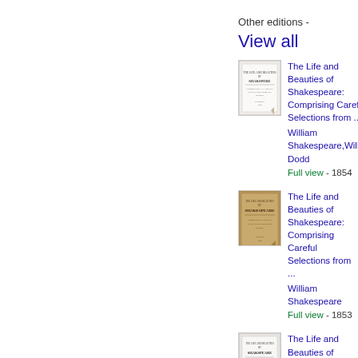Other editions -
View all
[Figure (illustration): Thumbnail of book cover - white/light cover with text, 1854 edition]
The Life and Beauties of Shakespeare: Comprising Careful Selections from ... William Shakespeare,William Dodd
Full view - 1854
[Figure (illustration): Thumbnail of book cover - brown/aged cover with text, 1853 edition]
The Life and Beauties of Shakespeare: Comprising Careful Selections from ... William Shakespeare
Full view - 1853
[Figure (illustration): Thumbnail of book cover - white/light cover with text, third edition]
The Life and Beauties of Shakespeare: Comprising Careful Selections from ...